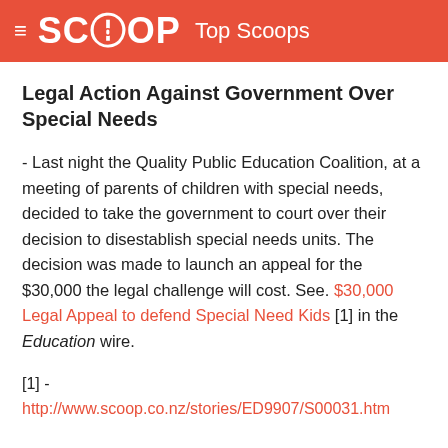SCOOP Top Scoops
Legal Action Against Government Over Special Needs
- Last night the Quality Public Education Coalition, at a meeting of parents of children with special needs, decided to take the government to court over their decision to disestablish special needs units. The decision was made to launch an appeal for the $30,000 the legal challenge will cost. See. $30,000 Legal Appeal to defend Special Need Kids [1] in the Education wire.
[1] - http://www.scoop.co.nz/stories/ED9907/S00031.htm